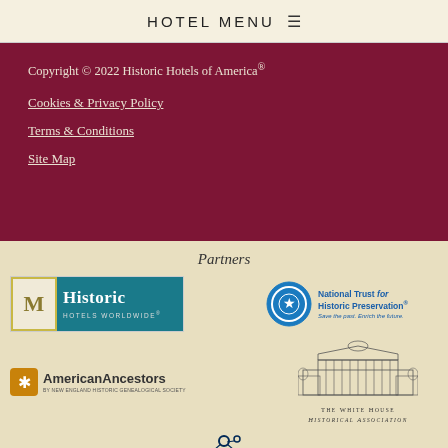HOTEL MENU
Copyright © 2022 Historic Hotels of America®
Cookies & Privacy Policy
Terms & Conditions
Site Map
Partners
[Figure (logo): Historic Hotels Worldwide logo — teal/blue background with monogram and text]
[Figure (logo): National Trust for Historic Preservation logo — blue circular emblem with text]
[Figure (logo): American Ancestors by New England Historic Genealogical Society logo]
[Figure (logo): The White House Historical Association logo — illustration of White House with text]
[Figure (logo): Share the Experience logo — partial view]